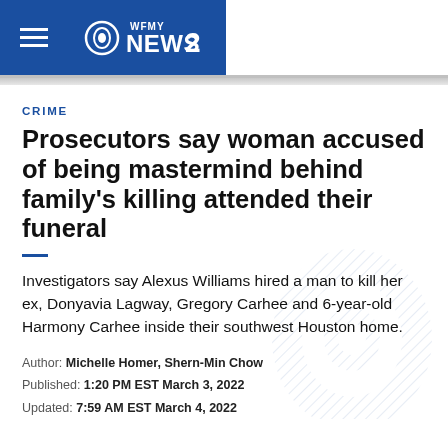WFMY NEWS 2
CRIME
Prosecutors say woman accused of being mastermind behind family's killing attended their funeral
Investigators say Alexus Williams hired a man to kill her ex, Donyavia Lagway, Gregory Carhee and 6-year-old Harmony Carhee inside their southwest Houston home.
Author: Michelle Homer, Shern-Min Chow
Published: 1:20 PM EST March 3, 2022
Updated: 7:59 AM EST March 4, 2022